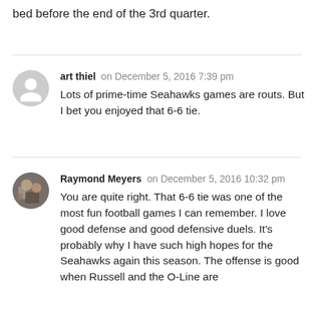bed before the end of the 3rd quarter.
art thiel on December 5, 2016 7:39 pm
Lots of prime-time Seahawks games are routs. But I bet you enjoyed that 6-6 tie.
Raymond Meyers on December 5, 2016 10:32 pm
You are quite right. That 6-6 tie was one of the most fun football games I can remember. I love good defense and good defensive duels. It's probably why I have such high hopes for the Seahawks again this season. The offense is good when Russell and the O-Line are